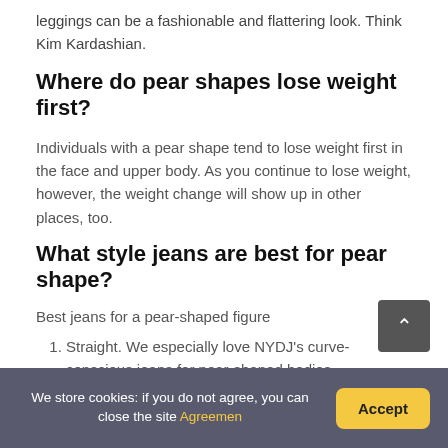leggings can be a fashionable and flattering look. Think Kim Kardashian.
Where do pear shapes lose weight first?
Individuals with a pear shape tend to lose weight first in the face and upper body. As you continue to lose weight, however, the weight change will show up in other places, too.
What style jeans are best for pear shape?
Best jeans for a pear-shaped figure
Straight. We especially love NYDJ's curve-conscious jeans for pear-shaped bodies.
Slim-straight. A skinny-jean alternative that skims the thighs rather than squeezing them
We store cookies: if you do not agree, you can close the site Agreemen